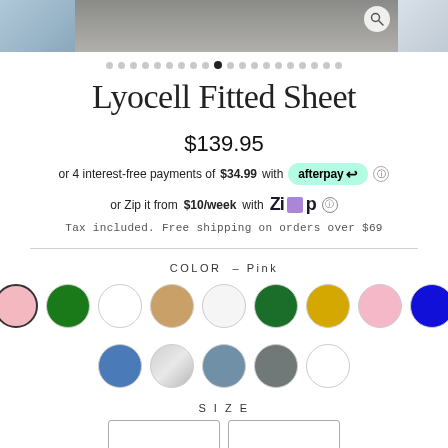[Figure (photo): Product image strip showing a fitted sheet, partially visible on left and right sides with a center grey/stone colored sheet photo and a search magnifier icon]
Lyocell Fitted Sheet
$139.95
or 4 interest-free payments of $34.99 with afterpay
or Zip it from $10/week with Zip
Tax included. Free shipping on orders over $69
COLOR – Pink
[Figure (illustration): Color swatches: row 1 – pink (selected), dark green, white, tan, white, dark green, gold, light pink, blue; row 2 – blue, silver, steel blue, gray, white]
SIZE
[Figure (illustration): Size selection buttons, partially visible at bottom]